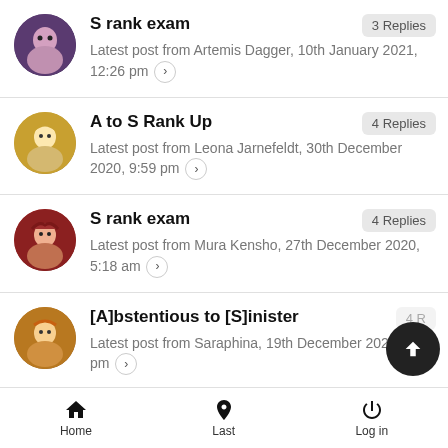S rank exam — 3 Replies. Latest post from Artemis Dagger, 10th January 2021, 12:26 pm
A to S Rank Up — 4 Replies. Latest post from Leona Jarnefeldt, 30th December 2020, 9:59 pm
S rank exam — 4 Replies. Latest post from Mura Kensho, 27th December 2020, 5:18 am
[A]bstentious to [S]inister — 4 Replies. Latest post from Saraphina, 19th December 2020, pm
Home   Last   Log in